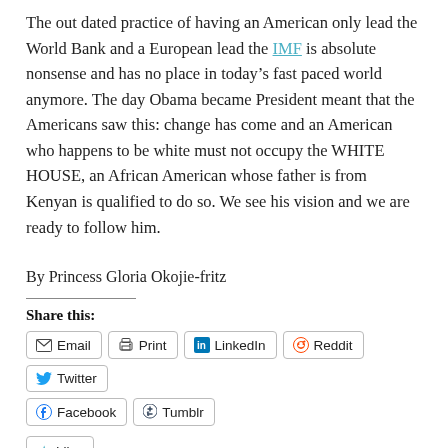The out dated practice of having an American only lead the World Bank and a European lead the IMF is absolute nonsense and has no place in today's fast paced world anymore. The day Obama became President meant that the Americans saw this: change has come and an American who happens to be white must not occupy the WHITE HOUSE, an African American whose father is from Kenyan is qualified to do so. We see his vision and we are ready to follow him.
By Princess Gloria Okojie-fritz
Share this:
Email | Print | LinkedIn | Reddit | Twitter | Facebook | Tumblr
Like